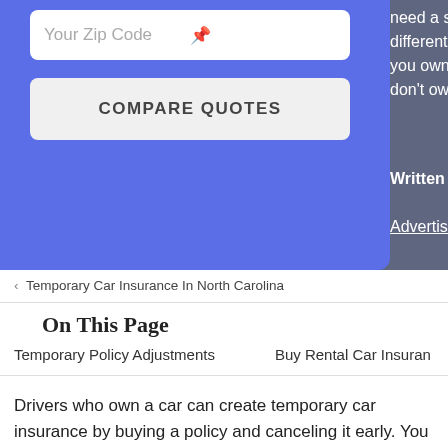[Figure (screenshot): Blue UI widget with zip code input field and COMPARE QUOTES button on a blue-purple background]
need a shorter polic different ways to get you own a car and ne don't own a car and
Written By Mark Fitz
Advertising & Editoria
< Temporary Car Insurance In North Carolina
On This Page
Temporary Policy Adjustments
Buy Rental Car Insuran
Drivers who own a car can create temporary car insurance by buying a policy and canceling it early. You can typically cancel